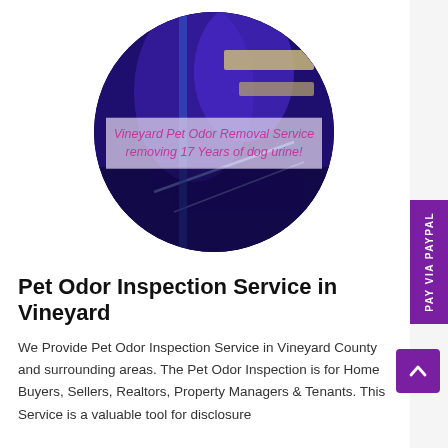[Figure (photo): Circular cropped photo showing a purple/blue UV-lit surface with a white banner overlay reading 'Vineyard Pet Odor Removal Service removing 17 Years of dog urine!']
Pet Odor Inspection Service in Vineyard
We Provide Pet Odor Inspection Service in Vineyard County and surrounding areas. The Pet Odor Inspection is for Home Buyers, Sellers, Realtors, Property Managers & Tenants. This Service is a valuable tool for disclosure